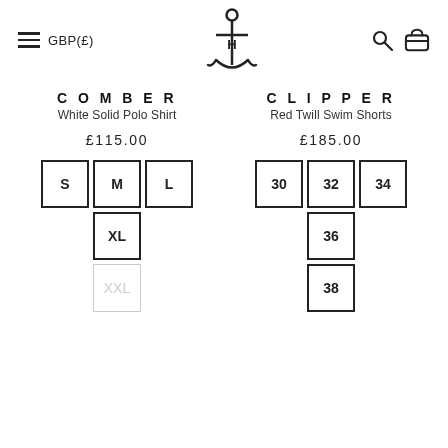GBP(£)
COMBER
White Solid Polo Shirt
£115.00
S, M, L, XL, XXL (unavailable)
CLIPPER
Red Twill Swim Shorts
£185.00
30, 32, 34, 36, 38